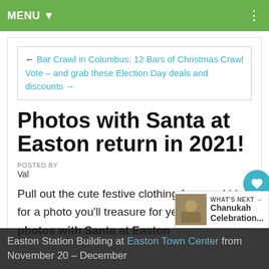MENU ▼
← Bar Crawl in Columbus: 12 Bars of Christmas Crawl
Vote – and grab these Election Day deals and discounts →
Photos with Santa at Easton return in 2021!
POSTED BY
Val
Pull out the cute festive clothing for your kids for a photo you'll treasure for years! Get photos with Santa at Easton... Easton Station Building at Easton Town Center from November 20 – December